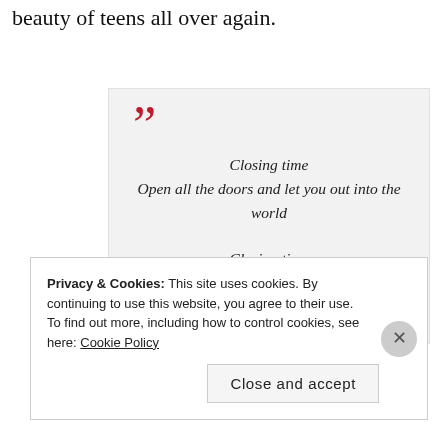beauty of teens all over again.
Closing time
Open all the doors and let you out into the world

Closing time
Every new beginning comes from some other beginning's end
Privacy & Cookies: This site uses cookies. By continuing to use this website, you agree to their use.
To find out more, including how to control cookies, see here: Cookie Policy
Close and accept